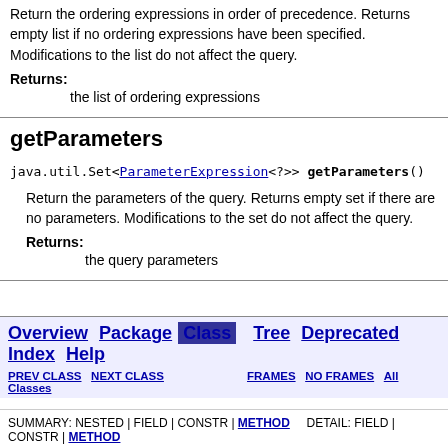Return the ordering expressions in order of precedence. Returns empty list if no ordering expressions have been specified. Modifications to the list do not affect the query.
Returns: the list of ordering expressions
getParameters
java.util.Set<ParameterExpression<?>> getParameters()
Return the parameters of the query. Returns empty set if there are no parameters. Modifications to the set do not affect the query.
Returns: the query parameters
Overview Package Class Tree Deprecated Index Help | PREV CLASS NEXT CLASS FRAMES NO FRAMES All Classes | SUMMARY: NESTED | FIELD | CONSTR | METHOD DETAIL: FIELD | CONSTR | METHOD